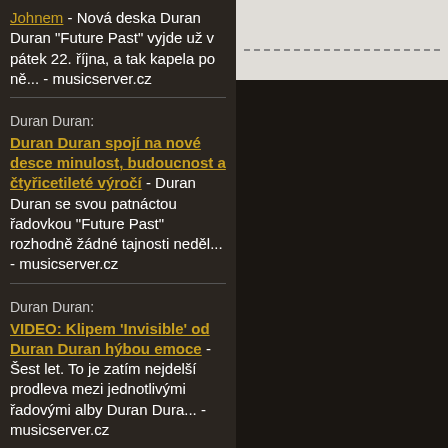Johnem - Nová deska Duran Duran "Future Past" vyjde už v pátek 22. října, a tak kapela po ně... - musicserver.cz
Duran Duran: Duran Duran spojí na nové desce minulost, budoucnost a čtyřicetileté výročí - Duran Duran se svou patnáctou řadovkou "Future Past" rozhodně žádné tajnosti neděl... - musicserver.cz
Duran Duran: VIDEO: Klipem 'Invisible' od Duran Duran hýbou emoce - Šest let. To je zatím nejdelší prodleva mezi jednotlivými řadovými alby Duran Dura... - musicserver.cz